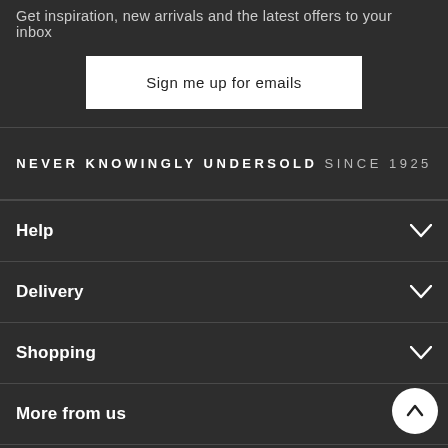Get inspiration, new arrivals and the latest offers to your inbox
Sign me up for emails
NEVER KNOWINGLY UNDERSOLD SINCE 1925
Help
Delivery
Shopping
More from us
Finance